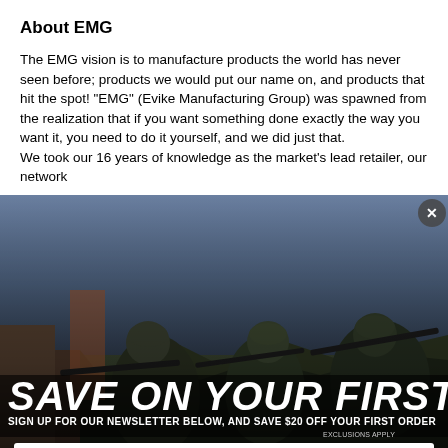About EMG
The EMG vision is to manufacture products the world has never seen before; products we would put our name on, and products that hit the spot! "EMG" (Evike Manufacturing Group) was spawned from the realization that if you want something done exactly the way you want it, you need to do it yourself, and we did just that.
We took our 16 years of knowledge as the market's lead retailer, our network
[Figure (photo): Soldiers in military gear aiming rifles, used as background for a promotional popup overlay]
SAVE ON YOUR FIRST ORDER
SIGN UP FOR OUR NEWSLETTER BELOW, AND SAVE $20 OFF YOUR FIRST ORDER
EXCLUSIONS APPLY
Enter your email address
Subscribe